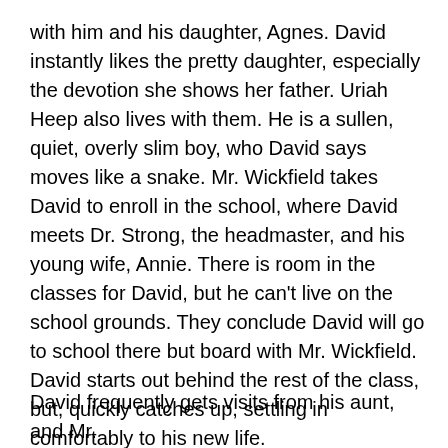with him and his daughter, Agnes. David instantly likes the pretty daughter, especially the devotion she shows her father. Uriah Heep also lives with them. He is a sullen, quiet, overly slim boy, who David says moves like a snake. Mr. Wickfield takes David to enroll in the school, where David meets Dr. Strong, the headmaster, and his young wife, Annie. There is room in the classes for David, but he can't live on the school grounds. They conclude David will go to school there but board with Mr. Wickfield. David starts out behind the rest of the class, but, quickly catches up, settling in comfortably to his new life.
David frequently gets visits from his aunt, and Mr.